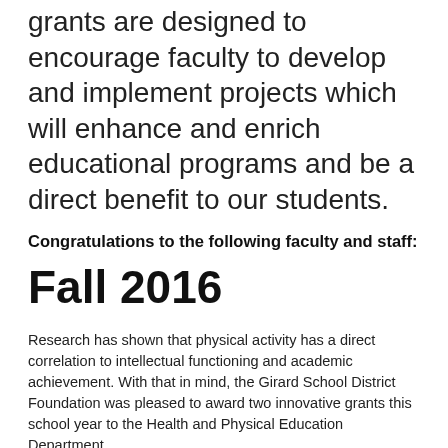grants are designed to encourage faculty to develop and implement projects which will enhance and enrich educational programs and be a direct benefit to our students.
Congratulations to the following faculty and staff:
Fall 2016
Research has shown that physical activity has a direct correlation to intellectual functioning and academic achievement. With that in mind, the Girard School District Foundation was pleased to award two innovative grants this school year to the Health and Physical Education Department.
Enjoy The Outdoor Adventure, Scott Russell (GHS)